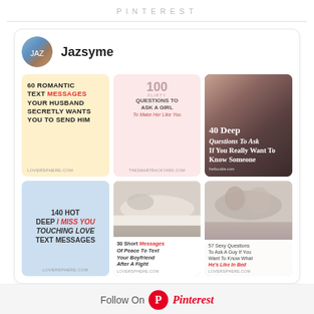PINTEREST
[Figure (screenshot): Pinterest profile page for user 'Jazsyme' showing a grid of 6 pins related to romantic text messages, flirty questions, and relationship advice. Avatar shows a decorative blue/brown image. Pins include: '60 Romantic Text Messages Your Husband Secretly Wants You To Send Him', '100 Flirty Questions To Ask A Girl To Make Her Like You', '40 Deep Questions To Ask If You Really Want To Know Someone', '140 Hot Deep I Miss You Touching Love Text Messages', '30 Short Messages Of Peace To Text Your Boyfriend After A Fight', '57 Sexy Questions To Ask A Guy If You Want To Know What He's Like In Bed'.]
Follow On Pinterest